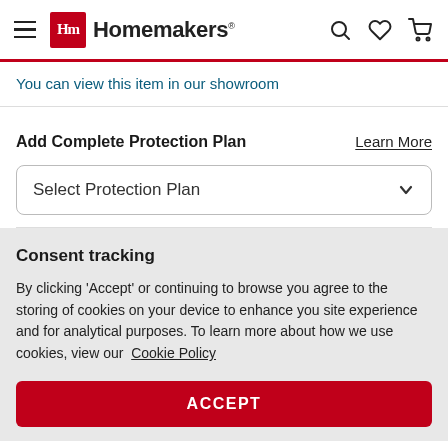Homemakers
You can view this item in our showroom
Add Complete Protection Plan
Learn More
Select Protection Plan
Consent tracking
By clicking 'Accept' or continuing to browse you agree to the storing of cookies on your device to enhance you site experience and for analytical purposes. To learn more about how we use cookies, view our  Cookie Policy
ACCEPT